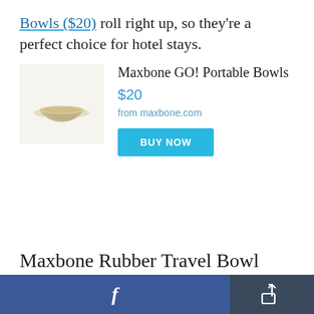Bowls ($20) roll right up, so they're a perfect choice for hotel stays.
Maxbone GO! Portable Bowls
$20
from maxbone.com
[Figure (photo): Product photo of Maxbone GO! Portable Bowls — beige/tan rolled fabric bowls on a light cream background]
BUY NOW
Maxbone Rubber Travel Bowl
Facebook share button and generic share button